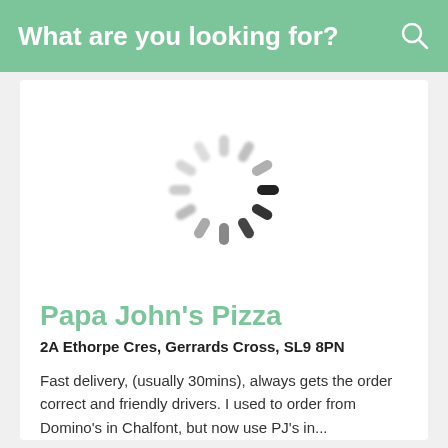What are you looking for?
[Figure (illustration): Loading spinner graphic — circular arrangement of radial dashes fading from dark (near 3 o'clock) to light grey, blurred, indicating a loading state]
Papa John's Pizza
2A Ethorpe Cres, Gerrards Cross, SL9 8PN
Fast delivery, (usually 30mins), always gets the order correct and friendly drivers. I used to order from Domino's in Chalfont, but now use PJ's in...
01964542344
Order online